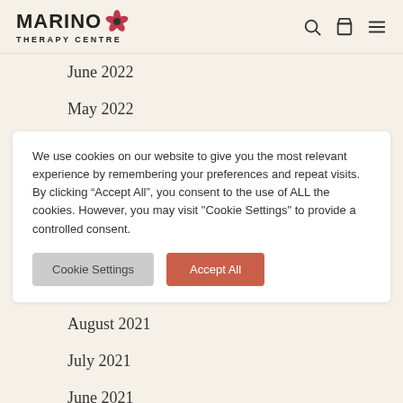MARINO THERAPY CENTRE
June 2022
May 2022
We use cookies on our website to give you the most relevant experience by remembering your preferences and repeat visits. By clicking “Accept All”, you consent to the use of ALL the cookies. However, you may visit "Cookie Settings" to provide a controlled consent.
August 2021
July 2021
June 2021
May 2021